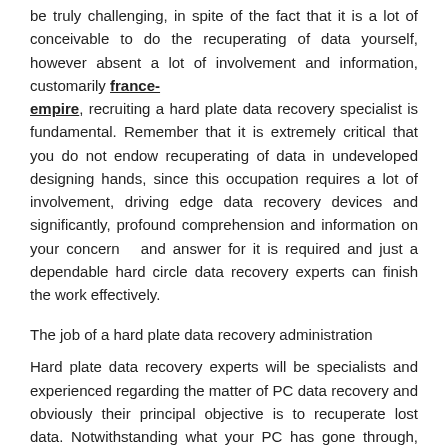be truly challenging, in spite of the fact that it is a lot of conceivable to do the recuperating of data yourself, however absent a lot of involvement and information, customarily france-empire, recruiting a hard plate data recovery specialist is fundamental. Remember that it is extremely critical that you do not endow recuperating of data in undeveloped designing hands, since this occupation requires a lot of involvement, driving edge data recovery devices and significantly, profound comprehension and information on your concern  and answer for it is required and just a dependable hard circle data recovery experts can finish the work effectively.
The job of a hard plate data recovery administration
Hard plate data recovery experts will be specialists and experienced regarding the matter of PC data recovery and obviously their principal objective is to recuperate lost data. Notwithstanding what your PC has gone through, the chance of recuperating such data is extraordinary however undoubtedly it should effectively be possible by a hard circle data recovery trained professional. By and large, on your most memorable